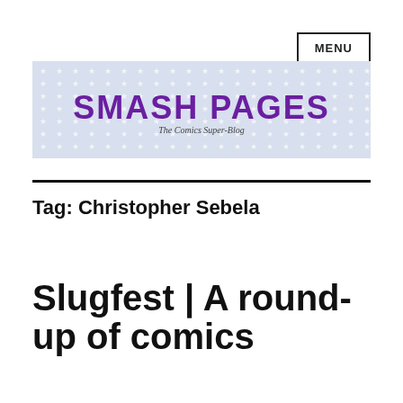MENU
[Figure (logo): Smash Pages logo banner with star pattern background. Large purple bold text reads 'SMASH PAGES' with subtitle 'The Comics Super-Blog' in italic below.]
Tag: Christopher Sebela
Slugfest | A round-up of comics